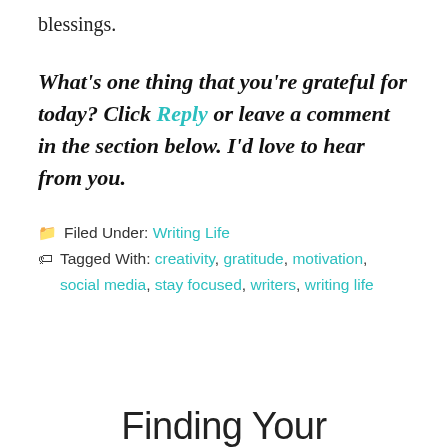blessings.
What's one thing that you're grateful for today? Click Reply or leave a comment in the section below. I'd love to hear from you.
Filed Under: Writing Life
Tagged With: creativity, gratitude, motivation, social media, stay focused, writers, writing life
Finding Your